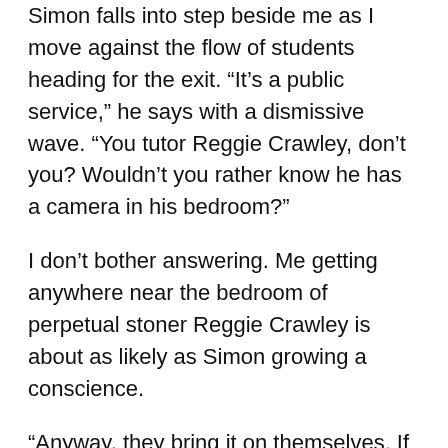Simon falls into step beside me as I move against the flow of students heading for the exit. “It’s a public service,” he says with a dismissive wave. “You tutor Reggie Crawley, don’t you? Wouldn’t you rather know he has a camera in his bedroom?”
I don’t bother answering. Me getting anywhere near the bedroom of perpetual stoner Reggie Crawley is about as likely as Simon growing a conscience.
“Anyway, they bring it on themselves. If people didn’t lie and cheat, I’d be out of business.” Simon’s cold blue eyes take in my lengthening strides. “Where are you rushing off to? Covering yourself in extracurricular glory?”
I wish. As if to taunt me, an alert crosses my